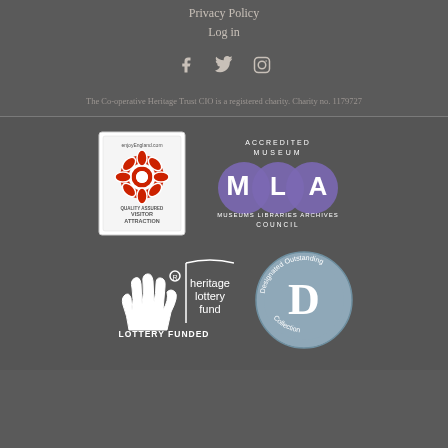Privacy Policy
Log in
[Figure (illustration): Social media icons: Facebook, Twitter, Instagram in light color on dark background]
The Co-operative Heritage Trust CIO is a registered charity. Charity no. 1179727
[Figure (logo): enjoyEngland.com Quality Assured Visitor Attraction badge with red Tudor rose]
[Figure (logo): Accredited Museum - Museums Libraries Archives Council (MLA) logo with overlapping circles M L A]
[Figure (logo): Heritage Lottery Fund - Lottery Funded logo with white lucky hand and heritage lottery fund text]
[Figure (logo): Designated Outstanding Collection badge - circular blue-grey badge with D letter]